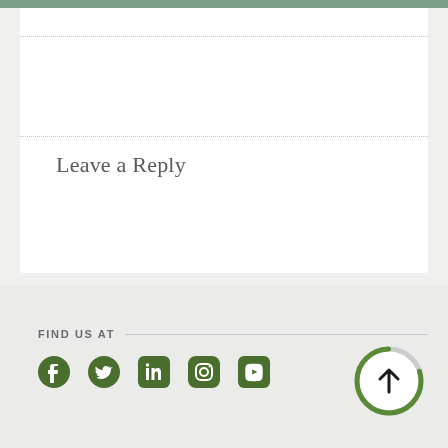Leave a Reply
FIND US AT
[Figure (infographic): Social media icons: Facebook, Twitter, LinkedIn, Instagram, YouTube — all in dark olive green]
[Figure (other): Circular scroll-to-top button with upward arrow, grey ring with green arc]